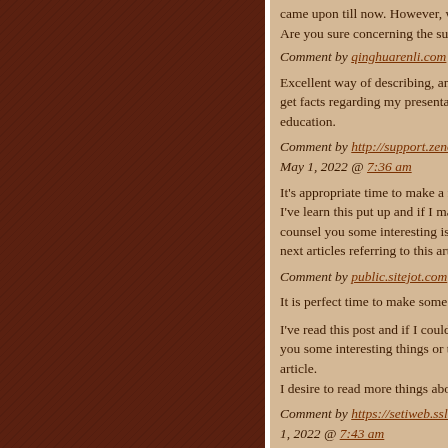came upon till now. However, wha... Are you sure concerning the supp...
Comment by qinghuarenli.com
Excellent way of describing, and g... get facts regarding my presentatio... education.
Comment by http://support.zenos... May 1, 2022 @ 7:36 am
It's appropriate time to make a few... I've learn this put up and if I may I... counsel you some interesting issu... next articles referring to this article.
Comment by public.sitejot.com
It is perfect time to make some pla...
I've read this post and if I could I w... you some interesting things or tips... article. I desire to read more things about...
Comment by https://setiweb.ssl.b... 1, 2022 @ 7:43 am
hi!,I like your writing so much! sha... approximately your article on AOL... solve my problem. Maybe that is y...
Comment by https://community.w...
It's very simple to find out any...